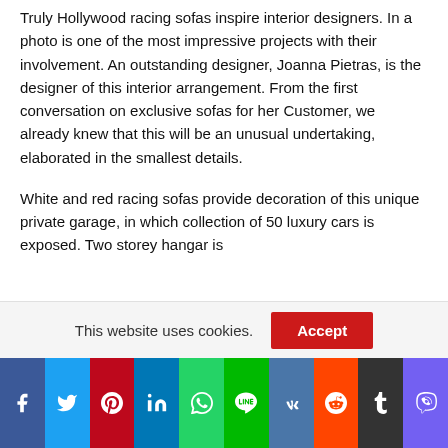Truly Hollywood racing sofas inspire interior designers. In a photo is one of the most impressive projects with their involvement. An outstanding designer, Joanna Pietras, is the designer of this interior arrangement. From the first conversation on exclusive sofas for her Customer, we already knew that this will be an unusual undertaking, elaborated in the smallest details.
White and red racing sofas provide decoration of this unique private garage, in which collection of 50 luxury cars is exposed. Two storey hangar is
This website uses cookies.
[Figure (infographic): Social sharing bar with icons for Facebook, Twitter, Pinterest, LinkedIn, WhatsApp, Line, VK, Reddit, Tumblr, Viber]